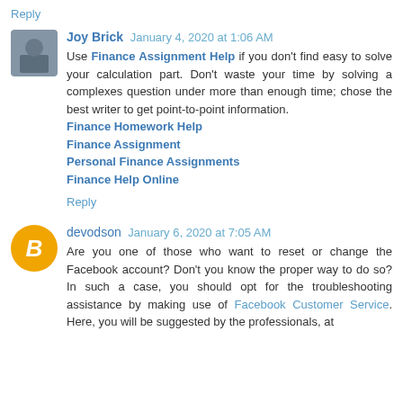Reply
Joy Brick January 4, 2020 at 1:06 AM
Use Finance Assignment Help if you don't find easy to solve your calculation part. Don't waste your time by solving a complexes question under more than enough time; chose the best writer to get point-to-point information.
Finance Homework Help
Finance Assignment
Personal Finance Assignments
Finance Help Online
Reply
devodson January 6, 2020 at 7:05 AM
Are you one of those who want to reset or change the Facebook account? Don't you know the proper way to do so? In such a case, you should opt for the troubleshooting assistance by making use of Facebook Customer Service. Here, you will be suggested by the professionals, at